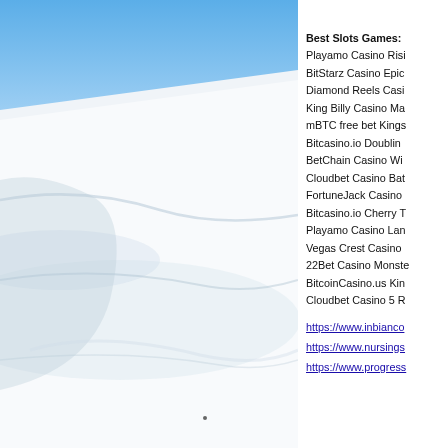[Figure (photo): Snowy mountain slope with ski tracks under a blue sky, viewed from a low angle. Large white snow field fills most of the image.]
Best Slots Games:
Playamo Casino Risi
BitStarz Casino Epic
Diamond Reels Casi
King Billy Casino Ma
mBTC free bet Kings
Bitcasino.io Doublin
BetChain Casino Wi
Cloudbet Casino Bat
FortuneJack Casino
Bitcasino.io Cherry T
Playamo Casino Lan
Vegas Crest Casino
22Bet Casino Monste
BitcoinCasino.us Kin
Cloudbet Casino 5 R
https://www.inbianco
https://www.nursings
https://www.progress